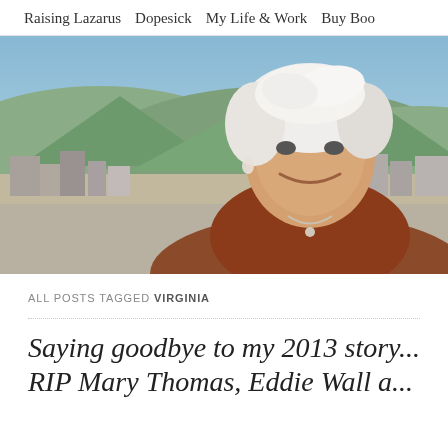Raising Lazarus   Dopesick   My Life & Work   Buy Boo...
[Figure (photo): Portrait photo of an older woman with short white hair, smiling, wearing a brown knit top with a necklace, posed in front of a cityscape with mountains and blue sky in the background.]
ALL POSTS TAGGED VIRGINIA
Saying goodbye to my 2013 story... RIP Mary Thomas, Eddie Wall a...